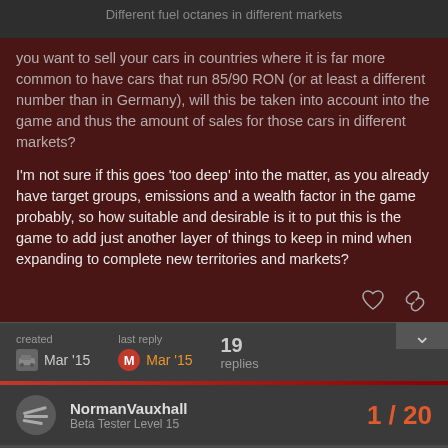Different fuel octanes in different markets
you want to sell your cars in countries where it is far more common to have cars that run 85/90 RON (or at least a different number than in Germany), will this be taken into account into the game and thus the amount of sales for those cars in different markets?
I'm not sure if this goes ‘too deep’ into the matter, as you already have target groups, emissions and a wealth factor in the game probably, so how suitable and desirable is it to put this is the game to add just another layer of things to keep in mind when expanding to complete new territories and markets?
created Mar '15   last reply Mar '15   19 replies
NormanVauxhall
Beta Tester Level 15
1 / 20